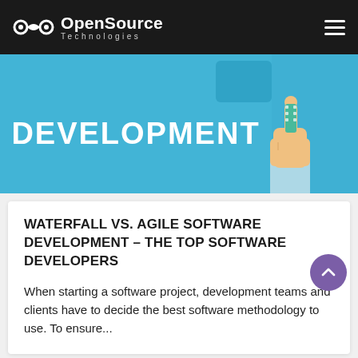OpenSource Technologies
[Figure (illustration): Banner image with blue background showing the word DEVELOPMENT in white bold text and a hand with a pointing finger touching a digital screen on the right side.]
WATERFALL VS. AGILE SOFTWARE DEVELOPMENT – THE TOP SOFTWARE DEVELOPERS
When starting a software project, development teams and clients have to decide the best software methodology to use. To ensure...
[Figure (photo): Partial view of a card with a light-colored photo on the left and the text MACHINE LEARNING in bold monospace font.]